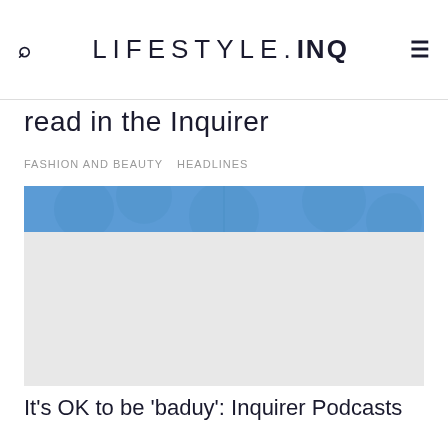LIFESTYLE.INQ
read in the Inquirer
FASHION AND BEAUTY   HEADLINES
[Figure (screenshot): Website article image with blue banner at top and light grey placeholder body]
It's OK to be 'baduy': Inquirer Podcasts